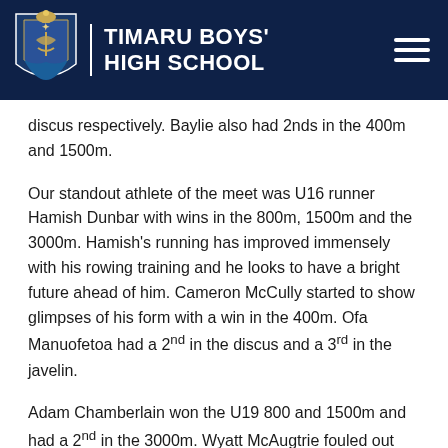TIMARU BOYS' HIGH SCHOOL
discus respectively. Baylie also had 2nds in the 400m and 1500m.
Our standout athlete of the meet was U16 runner Hamish Dunbar with wins in the 800m, 1500m and the 3000m. Hamish’s running has improved immensely with his rowing training and he looks to have a bright future ahead of him. Cameron McCully started to show glimpses of his form with a win in the 400m. Ofa Manuofetoa had a 2nd in the discus and a 3rd in the javelin.
Adam Chamberlain won the U19 800 and 1500m and had a 2nd in the 3000m. Wyatt McAugtrie fouled out